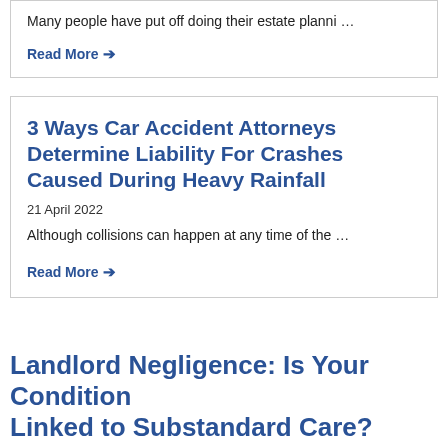Many people have put off doing their estate planni …
Read More →
3 Ways Car Accident Attorneys Determine Liability For Crashes Caused During Heavy Rainfall
21 April 2022
Although collisions can happen at any time of the …
Read More →
Landlord Negligence: Is Your Condition